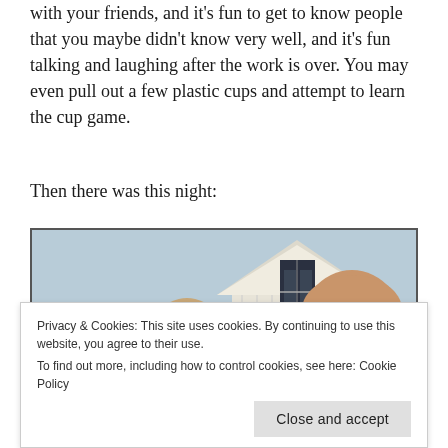with your friends, and it's fun to get to know people that you maybe didn't know very well, and it's fun talking and laughing after the work is over. You may even pull out a few plastic cups and attempt to learn the cup game.
Then there was this night:
[Figure (photo): Partial view of the American Gothic painting by Grant Wood, showing a bald man with wide eyes on the right and a woman partially visible on the left, with a white Gothic Revival farmhouse with a pointed arch window in the background.]
Privacy & Cookies: This site uses cookies. By continuing to use this website, you agree to their use.
To find out more, including how to control cookies, see here: Cookie Policy
Close and accept